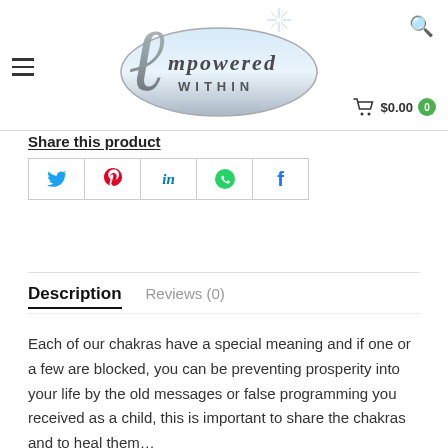Empowered Within — header with logo, cart $0.00, search icon, hamburger menu
Share this product
[Figure (other): Social share buttons row: Twitter (blue bird), Pinterest (red P), LinkedIn (blue in), WhatsApp (green phone), Facebook (blue f)]
Description
Reviews (0)
Each of our chakras have a special meaning and if one or a few are blocked, you can be preventing prosperity into your life by the old messages or false programming you received as a child, this is important to share the chakras and to heal them…